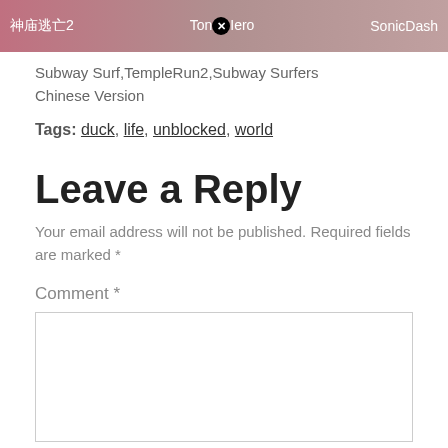[Figure (screenshot): Banner with three game titles: 神庙逃亡2, Ton✕Iero, SonicDash on a pink/grey gradient background]
Subway Surf,TempleRun2,Subway Surfers Chinese Version
Tags: duck, life, unblocked, world
Leave a Reply
Your email address will not be published. Required fields are marked *
Comment *
[Figure (screenshot): Comment text area input box with a teal scroll-to-top button and close icon at bottom]